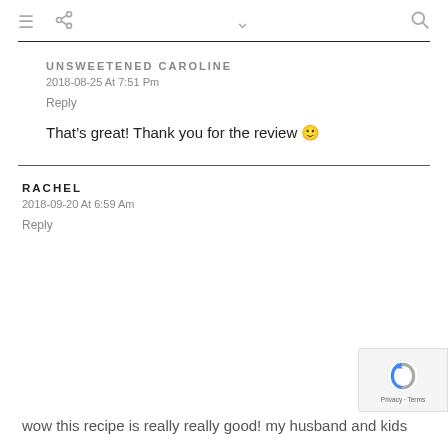≡ ⋮ ∨ 🔍
UNSWEETENED CAROLINE
2018-08-25 At 7:51 Pm
Reply
That's great! Thank you for the review 🙂
RACHEL
2018-09-20 At 6:59 Am
Reply
wow this recipe is really really good! my husband and kids